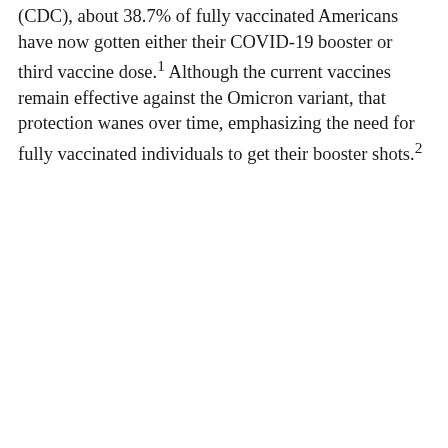(CDC), about 38.7% of fully vaccinated Americans have now gotten either their COVID-19 booster or third vaccine dose.1 Although the current vaccines remain effective against the Omicron variant, that protection wanes over time, emphasizing the need for fully vaccinated individuals to get their booster shots.2